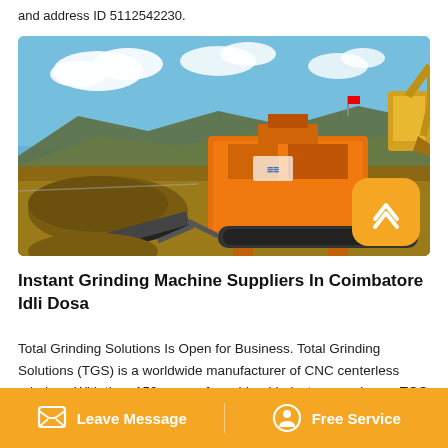and address ID 5112542230.
[Figure (photo): Orange mobile crushing/screening machine (tracked jaw crusher with conveyor belt) operating at an open-air construction or mining site with piles of gravel/dirt, blue sky with clouds, mountains in background, and an excavator visible at top right.]
Instant Grinding Machine Suppliers In Coimbatore Idli Dosa
Total Grinding Solutions Is Open for Business. Total Grinding Solutions (TGS) is a worldwide manufacturer of CNC centerless grinders. With than 150 years of combined industry experience, TGS engineers, designs and
Leave Message   Free Service